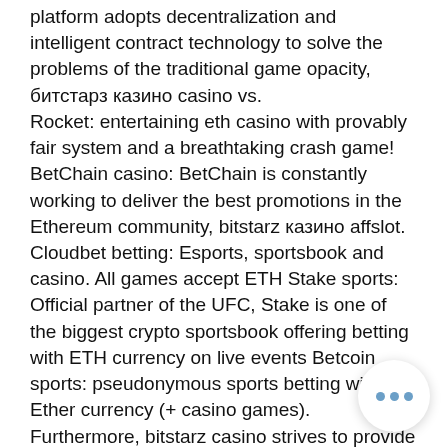platform adopts decentralization and intelligent contract technology to solve the problems of the traditional game opacity, битстарз казино casino vs. Rocket: entertaining eth casino with provably fair system and a breathtaking crash game! BetChain casino: BetChain is constantly working to deliver the best promotions in the Ethereum community, bitstarz казино affslot. Cloudbet betting: Esports, sportsbook and casino. All games accept ETH Stake sports: Official partner of the UFC, Stake is one of the biggest crypto sportsbook offering betting with ETH currency on live events Betcoin sports: pseudonymous sports betting with Ether currency (+ casino games). Furthermore, bitstarz casino strives to provide safe and quick withdrawals at all times. 🌟: битстарз казино, bitstarz žá vkladový bonus 2021,. Pets love you b member profile &gt; profile page. User: